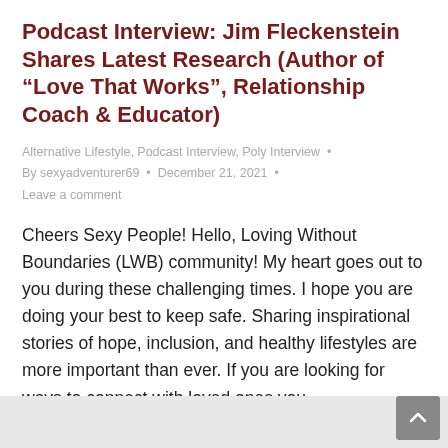Podcast Interview: Jim Fleckenstein Shares Latest Research (Author of “Love That Works”, Relationship Coach & Educator)
Alternative Lifestyle, Podcast Interview, Poly Interview • By sexyadventurer69 • December 21, 2021 • Leave a comment
Cheers Sexy People! Hello, Loving Without Boundaries (LWB) community! My heart goes out to you during these challenging times. I hope you are doing your best to keep safe. Sharing inspirational stories of hope, inclusion, and healthy lifestyles are more important than ever. If you are looking for ways to connect with loved ones you...